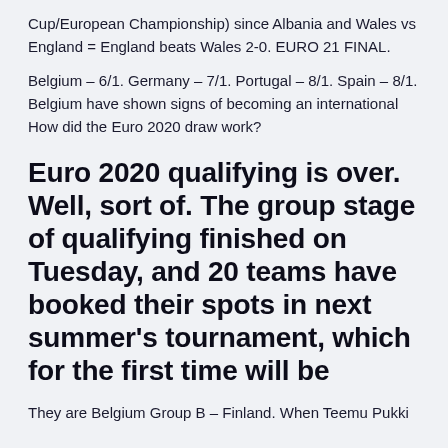Cup/European Championship) since Albania and Wales vs England = England beats Wales 2-0. EURO 21 FINAL.
Belgium – 6/1. Germany – 7/1. Portugal – 8/1. Spain – 8/1. Belgium have shown signs of becoming an international How did the Euro 2020 draw work?
Euro 2020 qualifying is over. Well, sort of. The group stage of qualifying finished on Tuesday, and 20 teams have booked their spots in next summer's tournament, which for the first time will be
They are Belgium Group B – Finland. When Teemu Pukki